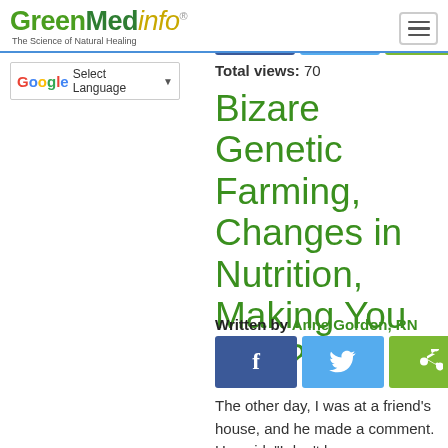GreenMedInfo - The Science of Natural Healing
Select Language
Total views: 70
Bizare Genetic Farming, Changes in Nutrition, Making You Sick?
Written by Anne Gordon, RN
The other day, I was at a friend's house, and he made a comment. He said: "I don't know anyone who is well." It got me thinking. Why are people getting sicker, with vague weird symptoms?  Is it the new